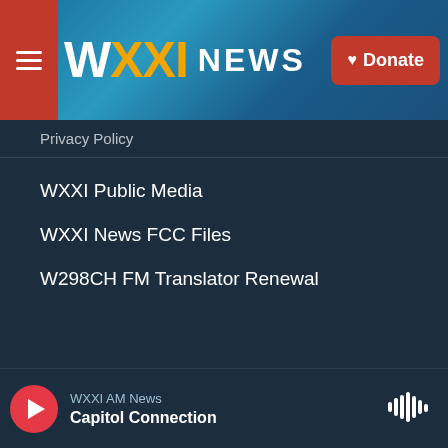WXXI NEWS | Donate
Privacy Policy
WXXI Public Media
WXXI News FCC Files
W298CH FM Translator Renewal
[Figure (logo): Footer logos row 1: NPR, WXXI.org, PBS]
[Figure (logo): Footer logos row 2: PRX, BBC, American Public Media]
WXXI AM News — Capitol Connection (player bar)